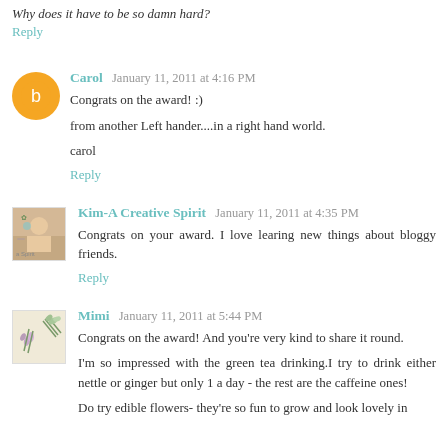Why does it have to be so damn hard?
Reply
Carol  January 11, 2011 at 4:16 PM
Congrats on the award! :)
from another Left hander....in a right hand world.
carol
Reply
Kim-A Creative Spirit  January 11, 2011 at 4:35 PM
Congrats on your award. I love learing new things about bloggy friends.
Reply
Mimi  January 11, 2011 at 5:44 PM
Congrats on the award! And you're very kind to share it round.
I'm so impressed with the green tea drinking.I try to drink either nettle or ginger but only 1 a day - the rest are the caffeine ones!
Do try edible flowers- they're so fun to grow and look lovely in